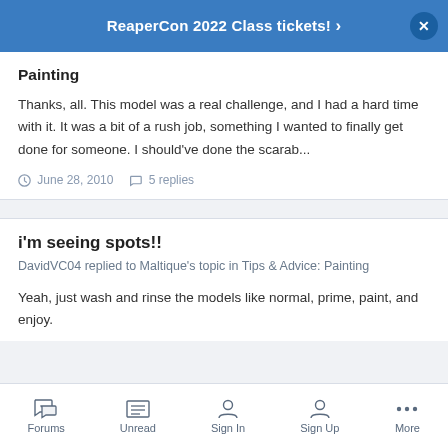ReaperCon 2022 Class tickets! >
Painting
Thanks, all. This model was a real challenge, and I had a hard time with it. It was a bit of a rush job, something I wanted to finally get done for someone. I should've done the scarab...
June 28, 2010  5 replies
i'm seeing spots!!
DavidVC04 replied to Maltique's topic in Tips & Advice: Painting
Yeah, just wash and rinse the models like normal, prime, paint, and enjoy.
Forums  Unread  Sign In  Sign Up  More